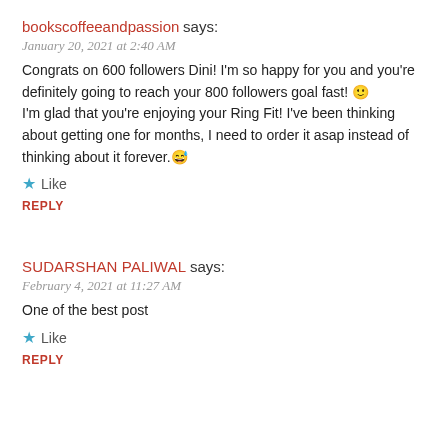bookscoffeeandpassion says:
January 20, 2021 at 2:40 AM
Congrats on 600 followers Dini! I'm so happy for you and you're definitely going to reach your 800 followers goal fast! 🙂 I'm glad that you're enjoying your Ring Fit! I've been thinking about getting one for months, I need to order it asap instead of thinking about it forever.😅
Like
REPLY
SUDARSHAN PALIWAL says:
February 4, 2021 at 11:27 AM
One of the best post
Like
REPLY